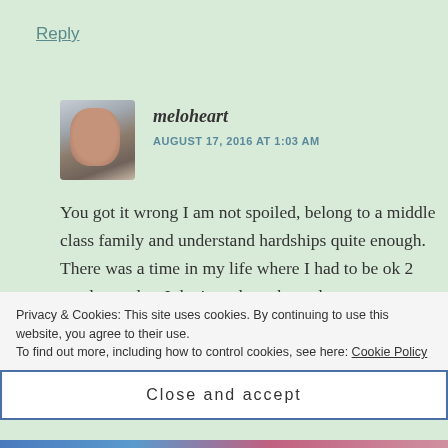Reply
[Figure (photo): Small avatar photo of a woman resting her chin on her hand, with dark hair, indoor background.]
meloheart
AUGUST 17, 2016 AT 1:03 AM
You got it wrong I am not spoiled, belong to a middle class family and understand hardships quite enough. There was a time in my life where I had to be ok 2 meals per day. I don't study anthropology to understand hardship. I study it to understand the
Privacy & Cookies: This site uses cookies. By continuing to use this website, you agree to their use.
To find out more, including how to control cookies, see here: Cookie Policy
Close and accept